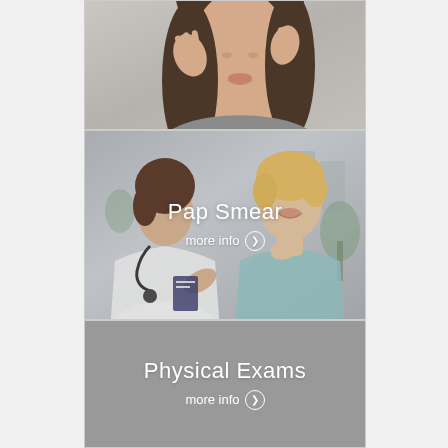[Figure (photo): Close-up photo of a woman with dark hair, hands near her face, looking slightly downward. Image is partially cropped showing face and hands.]
[Figure (photo): Photo of a female doctor in white coat with stethoscope consulting with a smiling female patient with short blonde hair in a medical office setting. Text overlay reads 'Pap Smear' and 'more info' with a circle arrow icon.]
Pap Smear
more info ❯
[Figure (photo): Solid gray background panel representing Physical Exams section with text overlay.]
Physical Exams
more info ❯